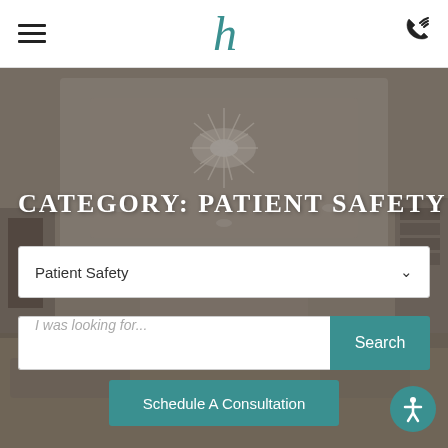h (logo) — hamburger menu and phone icon
[Figure (photo): Interior of a medical facility lobby/waiting area with a decorative ceiling light fixture, recessed lighting, and blurred background. Semi-transparent dark overlay applied.]
CATEGORY: PATIENT SAFETY
Patient Safety (dropdown selector)
I was looking for... Search (search bar with button)
Schedule A Consultation